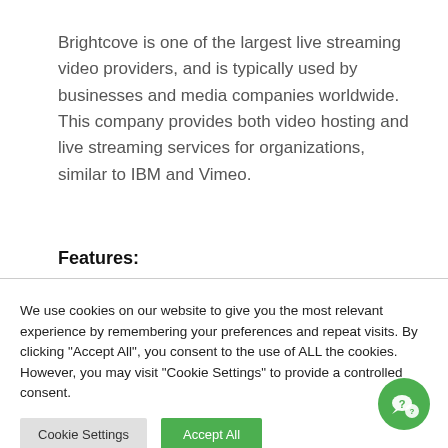Brightcove is one of the largest live streaming video providers, and is typically used by businesses and media companies worldwide. This company provides both video hosting and live streaming services for organizations, similar to IBM and Vimeo.
Features:
We use cookies on our website to give you the most relevant experience by remembering your preferences and repeat visits. By clicking "Accept All", you consent to the use of ALL the cookies. However, you may visit "Cookie Settings" to provide a controlled consent.